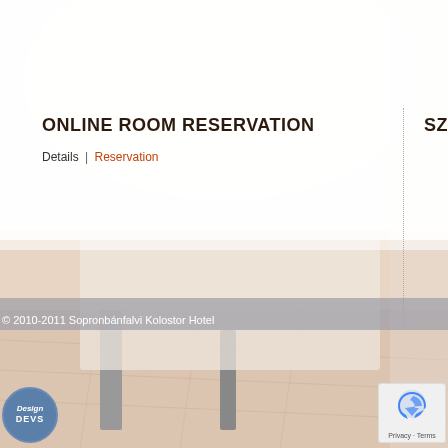ONLINE ROOM RESERVATION
Details | Reservation
© 2010-2011 Sopronbánfalvi Kolostor Hotel
[Figure (logo): Design Devs circular logo badge in blue]
[Figure (logo): reCAPTCHA widget with blue arrow icon and Privacy - Terms text]